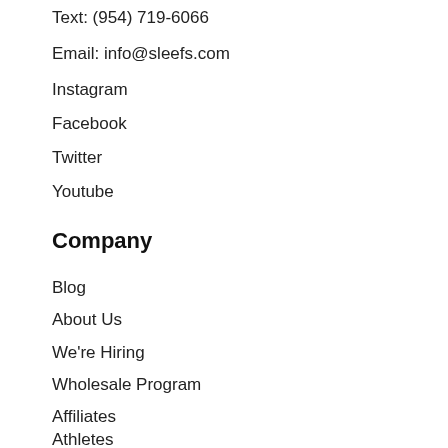Text: (954) 719-6066
Email: info@sleefs.com
Instagram
Facebook
Twitter
Youtube
Company
Blog
About Us
We're Hiring
Wholesale Program
Affiliates
Athletes
Ambassadors